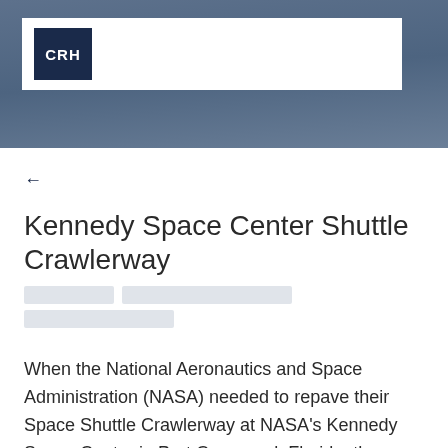CRH
Kennedy Space Center Shuttle Crawlerway
When the National Aeronautics and Space Administration (NASA) needed to repave their Space Shuttle Crawlerway at NASA's Kennedy Space Center in Port Canaveral, Florida, they chose...